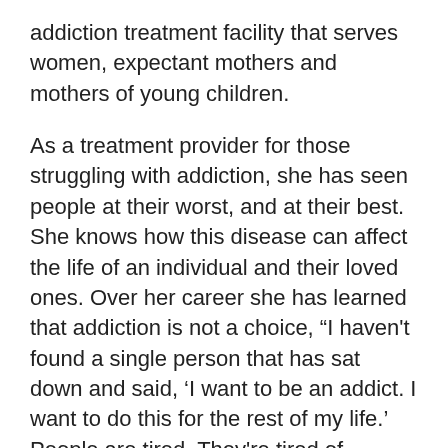addiction treatment facility that serves women, expectant mothers and mothers of young children.
As a treatment provider for those struggling with addiction, she has seen people at their worst, and at their best. She knows how this disease can affect the life of an individual and their loved ones. Over her career she has learned that addiction is not a choice, “I haven't found a single person that has sat down and said, ‘I want to be an addict. I want to do this for the rest of my life.’ People are tired. They're tired of chasing. They're tired of hustling. They're tired of doing all of that.”
For Sayward, her service is about empathy, compassion and acceptance. Over the years she has seen the struggle of addiction and